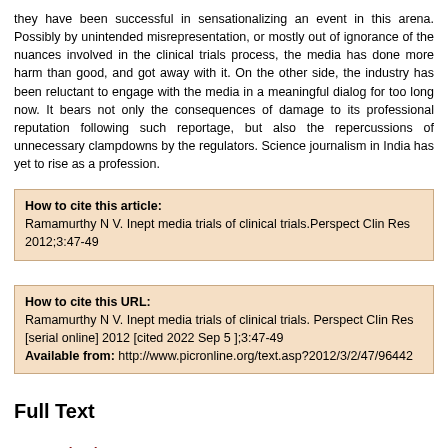they have been successful in sensationalizing an event in this arena. Possibly by unintended misrepresentation, or mostly out of ignorance of the nuances involved in the clinical trials process, the media has done more harm than good, and got away with it. On the other side, the industry has been reluctant to engage with the media in a meaningful dialog for too long now. It bears not only the consequences of damage to its professional reputation following such reportage, but also the repercussions of unnecessary clampdowns by the regulators. Science journalism in India has yet to rise as a profession.
How to cite this article:
Ramamurthy N V. Inept media trials of clinical trials.Perspect Clin Res 2012;3:47-49
How to cite this URL:
Ramamurthy N V. Inept media trials of clinical trials. Perspect Clin Res [serial online] 2012 [cited 2022 Sep 5 ];3:47-49
Available from: http://www.picronline.org/text.asp?2012/3/2/47/96442
Full Text
Introduction